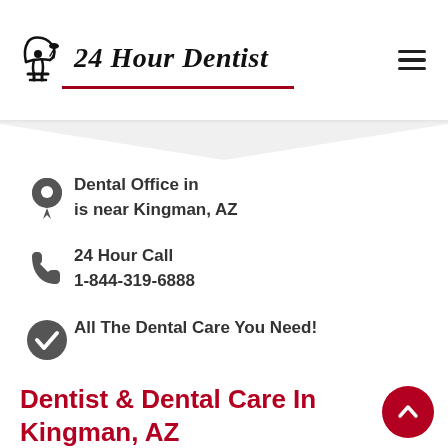[Figure (logo): 24 Hour Dentist logo with dental chair icon and italic text, red underline]
Dental Office in is near Kingman, AZ
24 Hour Call 1-844-319-6888
All The Dental Care You Need!
Dentist & Dental Care In Kingman, AZ